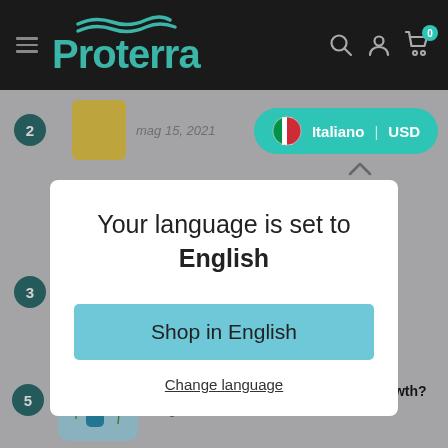[Figure (screenshot): Proterra e-commerce website header with dark navigation bar showing hamburger menu, Proterra logo in teal, and icons for search, account, and cart with badge showing 0]
[Figure (screenshot): Language selector pill showing Italian flag, 'Italiano | USD' text in teal rounded rectangle, with caret pointing up below it]
Your language is set to English
Shop in English
Change language
Which Shampoo is Best for Hair Growth?
mag 10, 2021